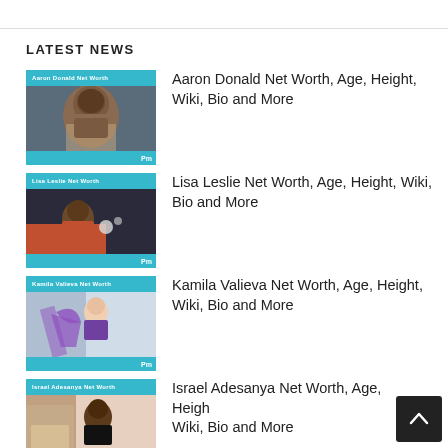LATEST NEWS
Aaron Donald Net Worth, Age, Height, Wiki, Bio and More
Lisa Leslie Net Worth, Age, Height, Wiki, Bio and More
Kamila Valieva Net Worth, Age, Height, Wiki, Bio and More
Israel Adesanya Net Worth, Age, Height, Wiki, Bio and More